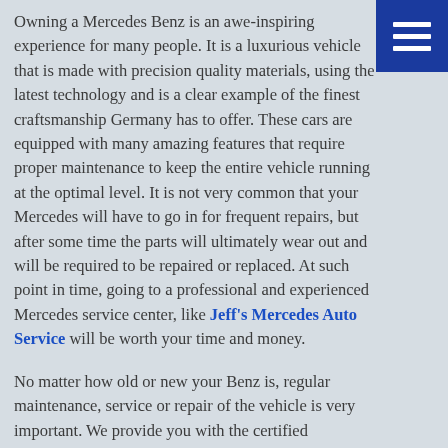Owning a Mercedes Benz is an awe-inspiring experience for many people. It is a luxurious vehicle that is made with precision quality materials, using the latest technology and is a clear example of the finest craftsmanship Germany has to offer. These cars are equipped with many amazing features that require proper maintenance to keep the entire vehicle running at the optimal level. It is not very common that your Mercedes will have to go in for frequent repairs, but after some time the parts will ultimately wear out and will be required to be repaired or replaced. At such point in time, going to a professional and experienced Mercedes service center, like Jeff's Mercedes Auto Service will be worth your time and money.
No matter how old or new your Benz is, regular maintenance, service or repair of the vehicle is very important. We provide you with the certified experience your car needs and make sure that you get the best quality service every time. We analyze your car using state of the art factory computers to figure out the essential repairs that are required. Being in the field for the last 23 years, we provide service and regular maintenance for many Mercedes cars in West Los Angeles, including Brentwood and Cheviot